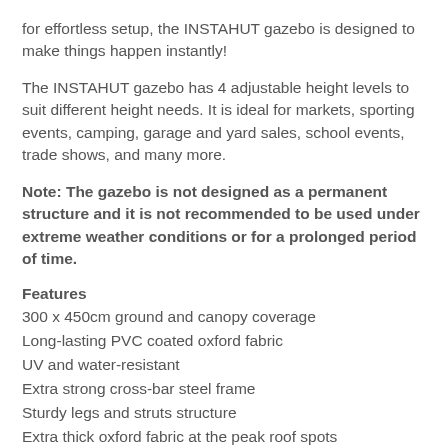for effortless setup, the INSTAHUT gazebo is designed to make things happen instantly!
The INSTAHUT gazebo has 4 adjustable height levels to suit different height needs. It is ideal for markets, sporting events, camping, garage and yard sales, school events, trade shows, and many more.
Note: The gazebo is not designed as a permanent structure and it is not recommended to be used under extreme weather conditions or for a prolonged period of time.
Features
300 x 450cm ground and canopy coverage
Long-lasting PVC coated oxford fabric
UV and water-resistant
Extra strong cross-bar steel frame
Sturdy legs and struts structure
Extra thick oxford fabric at the peak roof spots